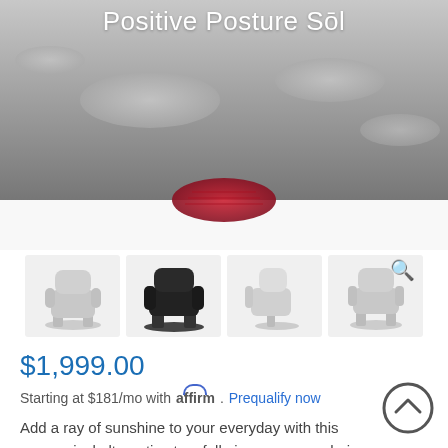Positive Posture Sōl
[Figure (photo): Top-down view of a massage chair showing grey padded surface with oval indentations and a red element, forming the hero product image]
[Figure (photo): Four thumbnail images of massage chairs: light grey chair (side view), black chair (front view), light grey chair (side profile), light grey chair (front view) with search icon overlay]
$1,999.00
Starting at $181/mo with affirm. Prequalify now
Add a ray of sunshine to your everyday with this economical alternative to a full-size massage chair. Sit